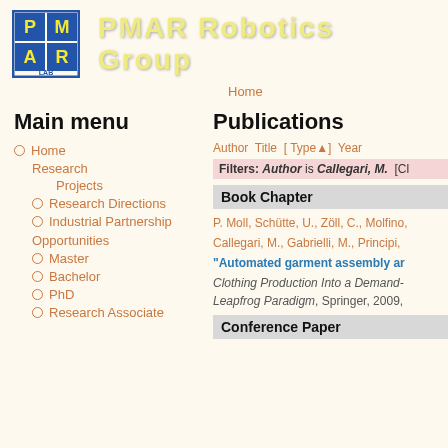[Figure (logo): PMAR LAB logo: 2x2 grid of colored squares with letters P, M, A, R in yellow on blue background, LAB text below]
PMAR Robotics Group
Home
Main menu
Home
Research
Projects
Research Directions
Industrial Partnership
Opportunities
Master
Bachelor
PhD
Research Associate
Publications
Author Title [ Type▲] Year
Filters: Author is Callegari, M.  [Cl
Book Chapter
P. Moll, Schütte, U., Zöll, C., Molfino, Callegari, M., Gabrielli, M., Principi,
"Automated garment assembly ar
Clothing Production Into a Demand- Leapfrog Paradigm, Springer, 2009,
Conference Paper